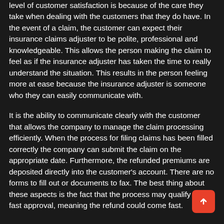level of customer satisfaction is because of the care they take when dealing with the customers that they do have. In the event of a claim, the customer can expect their insurance claims adjuster to be polite, professional and knowledgeable. This allows the person making the claim to feel as if the insurance adjuster has taken the time to really understand the situation. This results in the person feeling more at ease because the insurance adjuster is someone who they can easily communicate with.
It is the ability to communicate clearly with the customer that allows the company to manage the claim processing efficiently. When the process for filing claims has been filled correctly the company can submit the claim on the appropriate date. Furthermore, the refunded premiums are deposited directly into the customer's account. There are no forms to fill out or documents to fax. The best thing about these aspects is the fact that the process may qualify for a fast approval, meaning the refund could come fast.